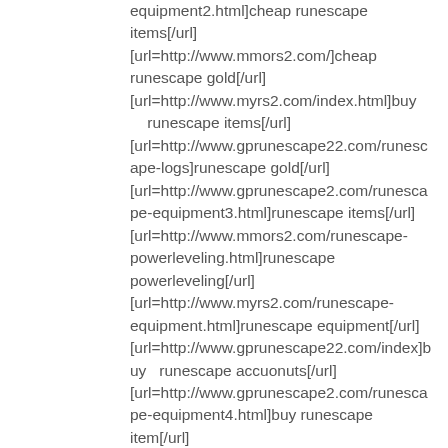equipment2.html]cheap runescape items[/url] [url=http://www.mmors2.com/]cheap runescape gold[/url] [url=http://www.myrs2.com/index.html]buy runescape items[/url] [url=http://www.gprunescape22.com/runescape-logs]runescape gold[/url] [url=http://www.gprunescape2.com/runescape-equipment3.html]runescape items[/url] [url=http://www.mmors2.com/runescape-powerleveling.html]runescape powerleveling[/url] [url=http://www.myrs2.com/runescape-equipment.html]runescape equipment[/url] [url=http://www.gprunescape22.com/index]buy runescape accuonuts[/url] [url=http://www.gprunescape2.com/runescape-equipment4.html]buy runescape item[/url] [url=http://www.mmors2.com/Runescape-gold.html]buy runescape gold[/url] [url=http://www.myrs2.com/runescape-equipment2.html]runescape equipments[/url] [url=http://www.gprunescape22.com/runescape-powerleveling]runescape powerleveling[/url] [url=http://www.gprunescape2.com/runescape-